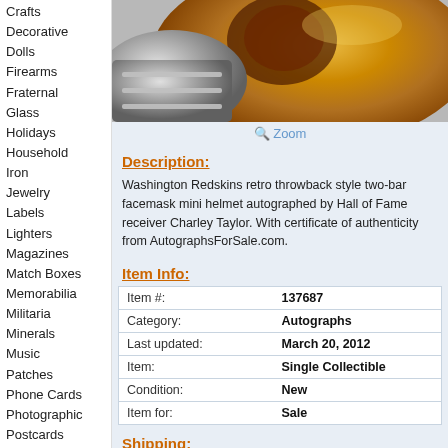Crafts
Decorative
Dolls
Firearms
Fraternal
Glass
Holidays
Household
Iron
Jewelry
Labels
Lighters
Magazines
Match Boxes
Memorabilia
Militaria
Minerals
Music
Patches
Phone Cards
Photographic
Postcards
Pottery & Glass
Shells
Space & Fantasy
Sports
Stamps
Stones
Tea bags
Toys
[Figure (photo): Close-up photo of a Washington Redskins retro throwback style mini helmet with orange/gold color and chrome facemask]
Zoom
Description:
Washington Redskins retro throwback style two-bar facemask mini helmet autographed by Hall of Fame receiver Charley Taylor. With certificate of authenticity from AutographsForSale.com.
Item Info:
| Item #: | 137687 |
| Category: | Autographs |
| Last updated: | March 20, 2012 |
| Item: | Single Collectible |
| Condition: | New |
| Item for: | Sale |
Shipping: